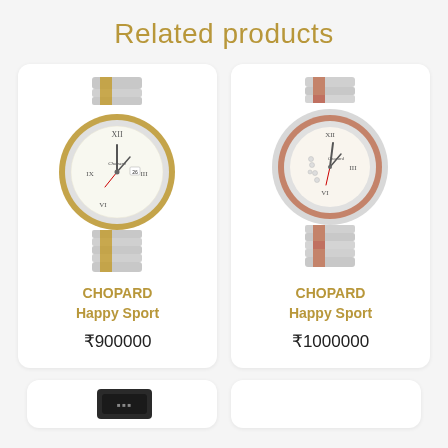Related products
[Figure (photo): Chopard Happy Sport watch with silver and gold two-tone bracelet and round gold bezel]
CHOPARD
Happy Sport
₹900000
[Figure (photo): Chopard Happy Sport women's watch with rose gold and silver bracelet, round bezel with diamond accents]
CHOPARD
Happy Sport
₹1000000